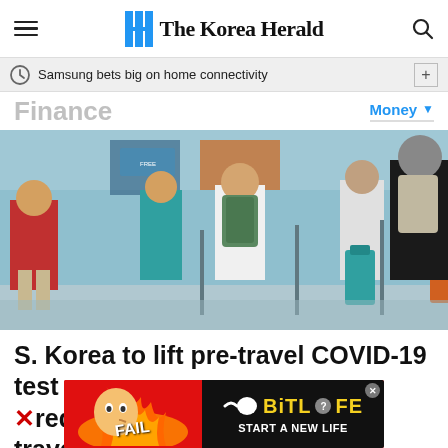The Korea Herald
Samsung bets big on home connectivity
Finance
Money
[Figure (photo): Travelers with luggage and backpacks standing in line at an airport check-in or immigration area, with signs visible in the background.]
S. Korea to lift pre-travel COVID-19 test
Xrequirement for inbound travelers this
[Figure (other): Advertisement banner for BitLife game with red background, cartoon character, flames, and text reading FAIL and START A NEW LIFE.]